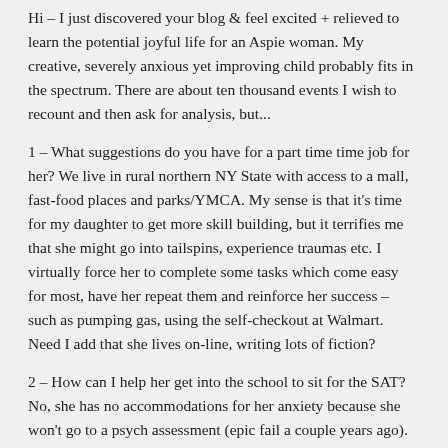Hi – I just discovered your blog & feel excited + relieved to learn the potential joyful life for an Aspie woman. My creative, severely anxious yet improving child probably fits in the spectrum. There are about ten thousand events I wish to recount and then ask for analysis, but...
1 – What suggestions do you have for a part time time job for her? We live in rural northern NY State with access to a mall, fast-food places and parks/YMCA. My sense is that it's time for my daughter to get more skill building, but it terrifies me that she might go into tailspins, experience traumas etc. I virtually force her to complete some tasks which come easy for most, have her repeat them and reinforce her success – such as pumping gas, using the self-checkout at Walmart. Need I add that she lives on-line, writing lots of fiction?
2 – How can I help her get into the school to sit for the SAT? No, she has no accommodations for her anxiety because she won't go to a psych assessment (epic fail a couple years ago).